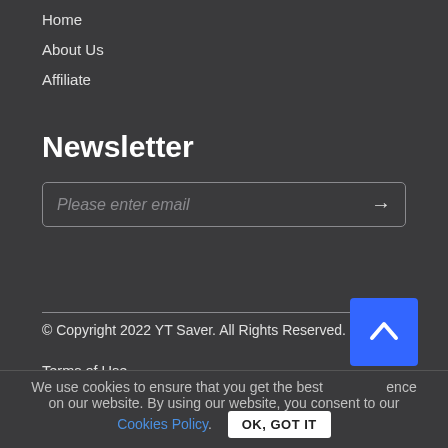Home
About Us
Affiliate
Newsletter
Please enter email →
© Copyright 2022 YT Saver. All Rights Reserved.
Terms of Use
Privacy Policy
Refund Policy
We use cookies to ensure that you get the best experience on our website. By using our website, you consent to our Cookies Policy. OK, GOT IT